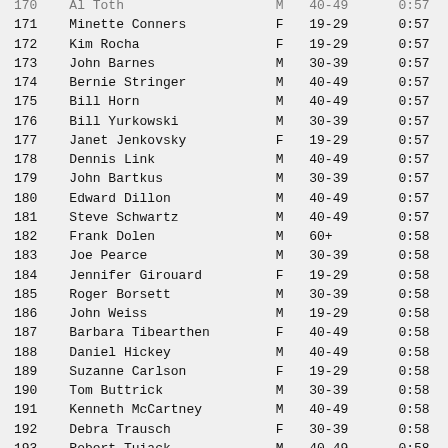| Place | Name | Sex | Age Group | Time |
| --- | --- | --- | --- | --- |
| 170 | Al Toth | M | 40-49 | 0:57 |
| 171 | Minette Conners | F | 19-29 | 0:57 |
| 172 | Kim Rocha | F | 19-29 | 0:57 |
| 173 | John Barnes | M | 30-39 | 0:57 |
| 174 | Bernie Stringer | M | 40-49 | 0:57 |
| 175 | Bill Horn | M | 40-49 | 0:57 |
| 176 | Bill Yurkowski | M | 30-39 | 0:57 |
| 177 | Janet Jenkovsky | F | 19-29 | 0:57 |
| 178 | Dennis Link | M | 40-49 | 0:57 |
| 179 | John Bartkus | M | 30-39 | 0:57 |
| 180 | Edward Dillon | M | 40-49 | 0:57 |
| 181 | Steve Schwartz | M | 40-49 | 0:57 |
| 182 | Frank Dolen | M | 60+ | 0:58 |
| 183 | Joe Pearce | M | 30-39 | 0:58 |
| 184 | Jennifer Girouard | F | 19-29 | 0:58 |
| 185 | Roger Borsett | M | 30-39 | 0:58 |
| 186 | John Weiss | M | 19-29 | 0:58 |
| 187 | Barbara Tibearthen | F | 40-49 | 0:58 |
| 188 | Daniel Hickey | M | 40-49 | 0:58 |
| 189 | Suzanne Carlson | F | 19-29 | 0:58 |
| 190 | Tom Buttrick | M | 30-39 | 0:58 |
| 191 | Kenneth McCartney | M | 40-49 | 0:58 |
| 192 | Debra Trausch | F | 30-39 | 0:58 |
| 193 | Robert Tuiack | M | 40-49 | 0:58 |
| 194 | Jean McCorkhill | F | 19-29 | 0:59 |
| 195 | S. Williams Jr. | M | 50-59 | 0:59 |
| 196 | R. Stonehill | M | 40-49 | 0:59 |
| 197 | Jan Findley | F | 18&< | 0:59 |
| 198 | Tony Brown | M | 30-39 | 0:59 |
| 199 | Frank Reufi | M | 30-39 | 0:59 |
| 200 | Joseph Carter | M | 30-39 | 0:59 |